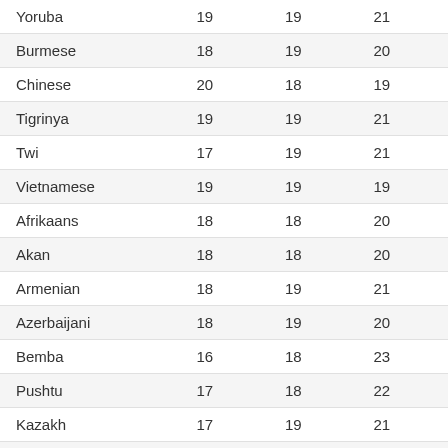| Yoruba | 19 | 19 | 21 |
| Burmese | 18 | 19 | 20 |
| Chinese | 20 | 18 | 19 |
| Tigrinya | 19 | 19 | 21 |
| Twi | 17 | 19 | 21 |
| Vietnamese | 19 | 19 | 19 |
| Afrikaans | 18 | 18 | 20 |
| Akan | 18 | 18 | 20 |
| Armenian | 18 | 19 | 21 |
| Azerbaijani | 18 | 19 | 20 |
| Bemba | 16 | 18 | 23 |
| Pushtu | 17 | 18 | 22 |
| Kazakh | 17 | 19 | 21 |
| Kosraean | 20 | 19 | 19 |
| Thai | 18 | 19 | 19 |
| Turkish | 18 | 19 | 19 |
| Amharic | 17 | 19 | 21 |
| Somali | 17 | 18 | 21 |
| Chichewa | 17 | 18 | 20 |